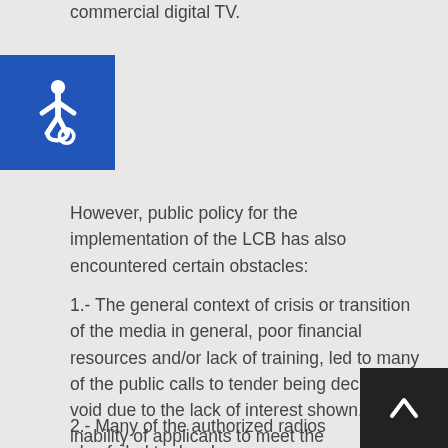commercial digital TV.
[Figure (illustration): Accessibility icon: white wheelchair user symbol on blue square background]
However, public policy for the implementation of the LCB has also encountered certain obstacles:
1.- The general context of crisis or transition of the media in general, poor financial resources and/or lack of training, led to many of the public calls to tender being declared void due to the lack of interest shown, or the inability of applicants to meet the requirements established by the LCB.
2.- Many of the authorized radios also failed to develop